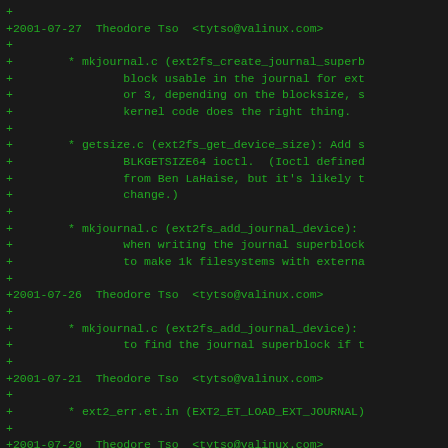+
+2001-07-27  Theodore Tso  <tytso@valinux.com>
+
+        * mkjournal.c (ext2fs_create_journal_superb
+                block usable in the journal for ext
+                or 3, depending on the blocksize, s
+                kernel code does the right thing.
+
+        * getsize.c (ext2fs_get_device_size): Add s
+                BLKGETSIZE64 ioctl.  (Ioctl defined
+                from Ben LaHaise, but it's likely t
+                change.)
+
+        * mkjournal.c (ext2fs_add_journal_device):
+                when writing the journal superblock
+                to make 1k filesystems with externa
+
+2001-07-26  Theodore Tso  <tytso@valinux.com>
+
+        * mkjournal.c (ext2fs_add_journal_device):
+                to find the journal superblock if t
+
+2001-07-21  Theodore Tso  <tytso@valinux.com>
+
+        * ext2_err.et.in (EXT2_ET_LOAD_EXT_JOURNAL)
+
+2001-07-20  Theodore Tso  <tytso@valinux.com>
+
+        * ext_attr.c (ext2fs_write_ext_attr): When
+                attribute block, set the filesystem